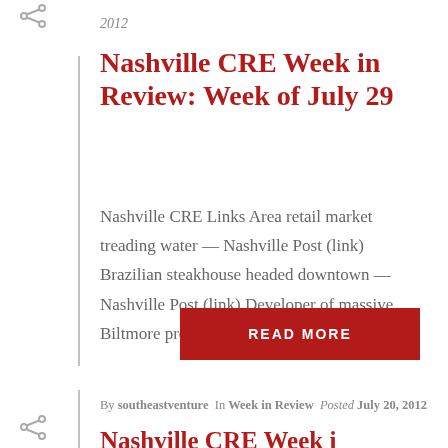2012
Nashville CRE Week in Review: Week of July 29
Nashville CRE Links Area retail market treading water — Nashville Post (link) Brazilian steakhouse headed downtown — Nashville Post (link) Developer of massive Biltmore project files Ch. 11 — [...]
READ MORE
By southeastventure In Week in Review Posted July 20, 2012
Nashville CRE Week in...